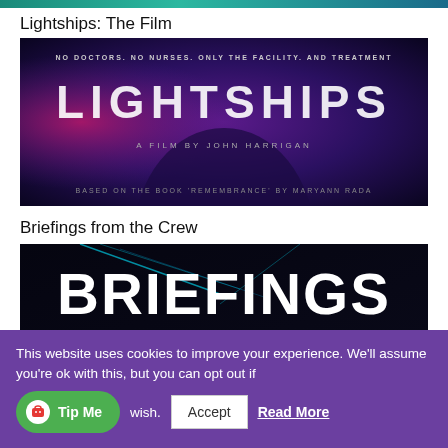[Figure (photo): Teal/blue colored banner strip at top of page]
Lightships: The Film
[Figure (photo): Lightships film poster with dark purple/blue background, silhouette, text: NO DOCTORS. NO NURSES. ONLY THE FACILITY. AND TREATMENT, LIGHTSHIPS, A FILM BY JOHN HARRIGAN, BASED ON THE BOOK 'REMEMBRANCE' BY MARYANN RADA]
Briefings from the Crew
[Figure (photo): Briefings from the Crew logo on dark background with cyan light streaks, large bold white text: BRIEFINGS FROM THE CREW]
This website uses cookies to improve your experience. We'll assume you're ok with this, but you can opt out if you wish.
Accept
Read More